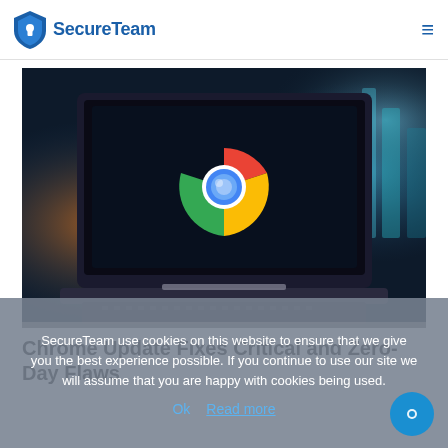SecureTeam
[Figure (photo): Laptop with Google Chrome logo displayed on dark screen, blurred colorful background]
Chrome Update Fixes Critical and Zero-Day Flaws
SecureTeam use cookies on this website to ensure that we give you the best experience possible. If you continue to use our site we will assume that you are happy with cookies being used.
Ok  Read more